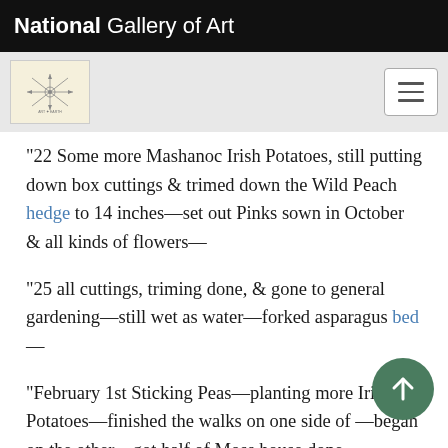National Gallery of Art
“22 Some more Mashanoc Irish Potatoes, still putting down box cuttings & trimed down the Wild Peach hedge to 14 inches—set out Pinks sown in October & all kinds of flowers—
“25 all cuttings, triming done, & gone to general gardening—still wet as water—forked asparagus bed—
“February 1st Sticking Peas—planting more Irish Potatoes—finished the walks on one side of —began on the other—got half of Moss house done mossing…”